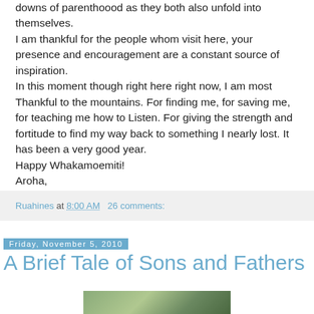downs of parenthoood as they both also unfold into themselves.
I am thankful for the people whom visit here, your presence and encouragement are a constant source of inspiration.
In this moment though right here right now, I am most Thankful to the mountains. For finding me, for saving me, for teaching me how to Listen. For giving the strength and fortitude to find my way back to something I nearly lost. It has been a very good year.
Happy Whakamoemiti!
Aroha,
Robb
Ruahines at 8:00 AM   26 comments:
Friday, November 5, 2010
A Brief Tale of Sons and Fathers
[Figure (photo): Partial view of a nature/tree photograph at the bottom of the page]